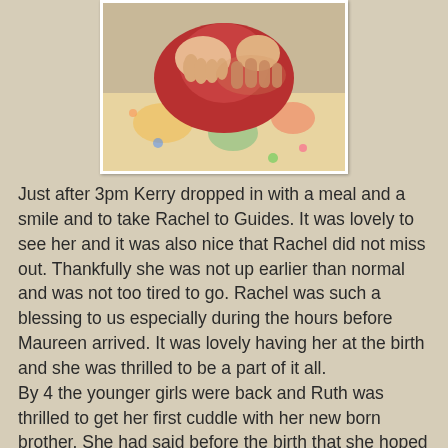[Figure (photo): Close-up photo of a baby being held, wearing red clothing, with colorful patterned fabric visible]
Just after 3pm Kerry dropped in with a meal and a smile and to take Rachel to Guides. It was lovely to see her and it was also nice that Rachel did not miss out. Thankfully she was not up earlier than normal and was not too tired to go. Rachel was such a blessing to us especially during the hours before Maureen arrived. It was lovely having her at the birth and she was thrilled to be a part of it all.
By 4 the younger girls were back and Ruth was thrilled to get her first cuddle with her new born brother. She had said before the birth that she hoped he was not born at night as she did not want to miss the birth. I am so glad my younger girls could be cared for so wonderfully (on Sunday and Monday - thank you Sarah) but also get to be home for the birth and also enjoy this special time with him on his very first day.
Above all I want to thank the Lord for all these many blessings. A couple of days after the birth a friend asked me what Hezekiah's name meant. As the meaning of names has